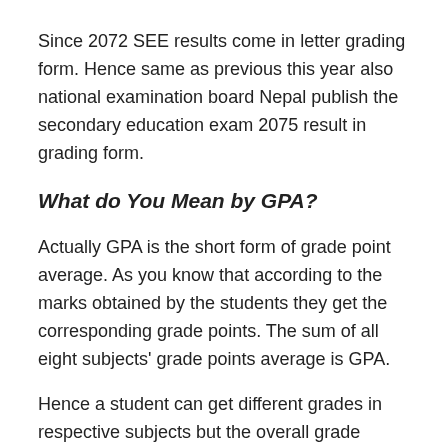Since 2072 SEE results come in letter grading form. Hence same as previous this year also national examination board Nepal publish the secondary education exam 2075 result in grading form.
What do You Mean by GPA?
Actually GPA is the short form of grade point average. As you know that according to the marks obtained by the students they get the corresponding grade points. The sum of all eight subjects' grade points average is GPA.
Hence a student can get different grades in respective subjects but the overall grade points average is not called A or A plus something like that.